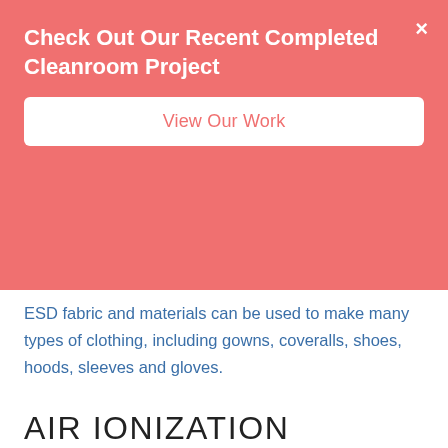Check Out Our Recent Completed Cleanroom Project
View Our Work
ESD fabric and materials can be used to make many types of clothing, including gowns, coveralls, shoes, hoods, sleeves and gloves.
AIR IONIZATION
Anti-static cleanrooms also make use of air ionization to remove particles that might attach and contaminate